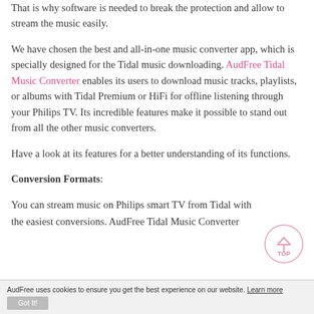That is why software is needed to break the protection and allow to stream the music easily.
We have chosen the best and all-in-one music converter app, which is specially designed for the Tidal music downloading. AudFree Tidal Music Converter enables its users to download music tracks, playlists, or albums with Tidal Premium or HiFi for offline listening through your Philips TV. Its incredible features make it possible to stand out from all the other music converters.
Have a look at its features for a better understanding of its functions.
Conversion Formats:
You can stream music on Philips smart TV from Tidal with the easiest conversions. AudFree Tidal Music Converter
AudFree uses cookies to ensure you get the best experience on our website. Learn more